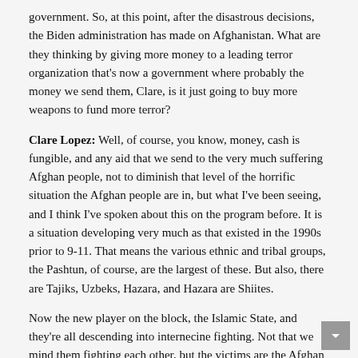government. So, at this point, after the disastrous decisions, the Biden administration has made on Afghanistan. What are they thinking by giving more money to a leading terror organization that's now a government where probably the money we send them, Clare, is it just going to buy more weapons to fund more terror?
Clare Lopez: Well, of course, you know, money, cash is fungible, and any aid that we send to the very much suffering Afghan people, not to diminish that level of the horrific situation the Afghan people are in, but what I've been seeing, and I think I've spoken about this on the program before. It is a situation developing very much as that existed in the 1990s prior to 9-11. That means the various ethnic and tribal groups, the Pashtun, of course, are the largest of these. But also, there are Tajiks, Uzbeks, Hazara, and Hazara are Shiites.
Now the new player on the block, the Islamic State, and they're all descending into internecine fighting. Not that we mind them fighting each other, but the victims are the Afghan people. That's the part that has to bother all of us.